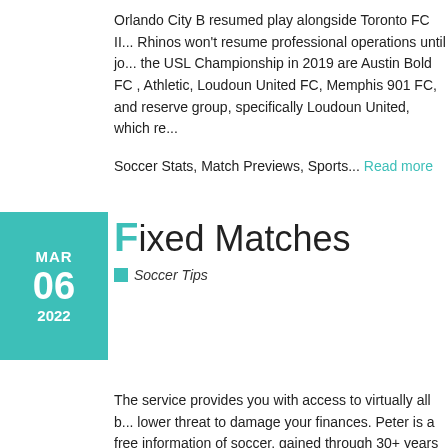Orlando City B resumed play alongside Toronto FC II... Rhinos won't resume professional operations until jo... the USL Championship in 2019 are Austin Bold FC, Athletic, Loudoun United FC, Memphis 901 FC, and reserve group, specifically Loudoun United, which re...
Soccer Stats, Match Previews, Sports... Read more
Fixed Matches
Soccer Tips
The service provides you with access to virtually all b... lower threat to damage your finances. Peter is a free information of soccer, gained through 30+ years of su... every thing there might be to learn about sports betti... includes betting on the result in a match with three o...